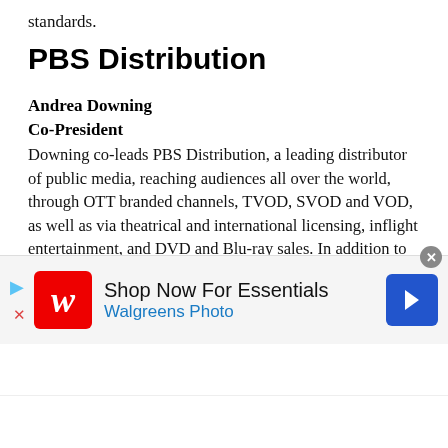standards.
PBS Distribution
Andrea Downing
Co-President
Downing co-leads PBS Distribution, a leading distributor of public media, reaching audiences all over the world, through OTT branded channels, TVOD, SVOD and VOD, as well as via theatrical and international licensing, inflight entertainment, and DVD and Blu-ray sales. In addition to managing a diversified distribution business, she has recently led the launch of two branded OTT channels, PBS Masterpiece and PBS KIDS, on Amazon Channels
[Figure (screenshot): Walgreens Photo advertisement banner: 'Shop Now For Essentials' with Walgreens red W logo and blue navigation arrow icon]